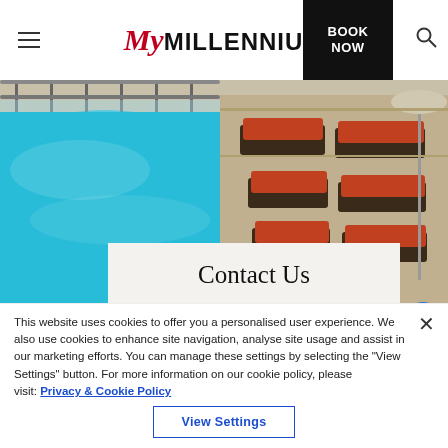My Millennium | BOOK NOW
[Figure (photo): Hotel pool with blue water, railings, and orange lounge chairs on poolside deck with umbrella]
Contact Us
PORT SAEED - DEIRA DUBAI, UNITED ARAB EMIRATES
This website uses cookies to offer you a personalised user experience. We also use cookies to enhance site navigation, analyse site usage and assist in our marketing efforts. You can manage these settings by selecting the "View Settings" button. For more information on our cookie policy, please visit: Privacy & Cookie Policy
View Settings